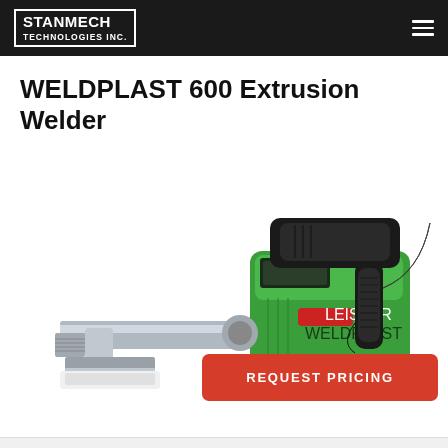STANMECH TECHNOLOGIES INC.
WELDPLAST 600 Extrusion Welder
[Figure (photo): WELDPLAST 600 Extrusion Welder — a handheld industrial plastic extrusion welding tool with a green and black body, metal extrusion nozzle, and ergonomic grip. The tool is photographed on a white background at an angle showing the full length of the barrel and nozzle.]
REQUEST PRICING